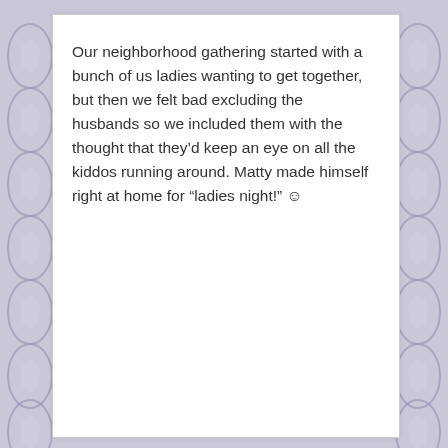Our neighborhood gathering started with a bunch of us ladies wanting to get together, but then we felt bad excluding the husbands so we included them with the thought that they'd keep an eye on all the kiddos running around. Matty made himself right at home for “ladies night!” ☺